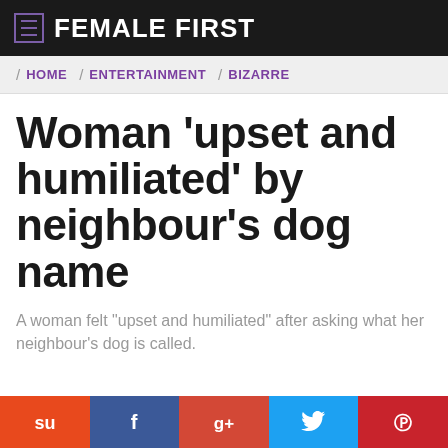FEMALE FIRST
HOME / ENTERTAINMENT / BIZARRE
Woman 'upset and humiliated' by neighbour's dog name
A woman felt "upset and humiliated" after asking what her neighbour's dog is called.
[Figure (other): Social sharing buttons: StumbleUpon, Facebook, Google+, Twitter, Pinterest]